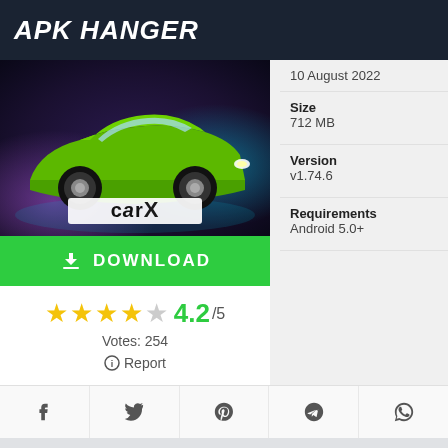APK HANGER
[Figure (screenshot): CarX racing game screenshot showing a green sports car with CarX logo on dark background]
10 August 2022
Size
712 MB
Version
v1.74.6
Requirements
Android 5.0+
DOWNLOAD
4.2/5
Votes: 254
Report